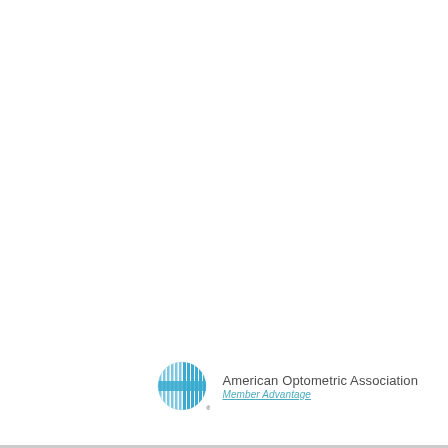[Figure (logo): American Optometric Association Member Advantage logo — a stylized globe/eye icon with vertical blue stripes and a horizontal band, followed by text 'American Optometric Association' and 'Member Advantage' in teal underlined below]